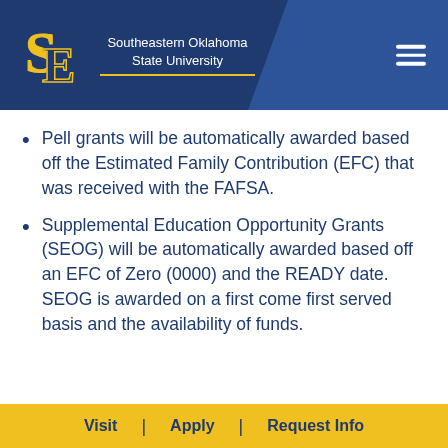[Figure (logo): Southeastern Oklahoma State University logo with SE letters in blue and gold, and university name in white text on dark blue header background]
Pell grants will be automatically awarded based off the Estimated Family Contribution (EFC) that was received with the FAFSA.
Supplemental Education Opportunity Grants (SEOG) will be automatically awarded based off an EFC of Zero (0000) and the READY date.  SEOG is awarded on a first come first served basis and the availability of funds.
Visit | Apply | Request Info